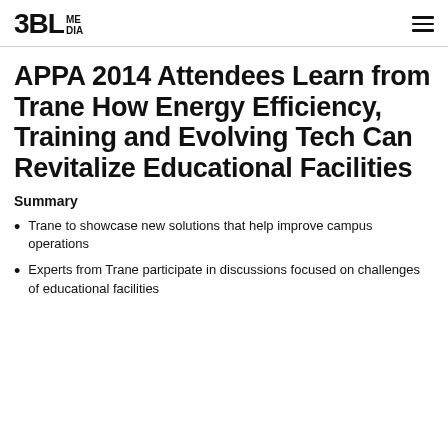3BL MEDIA
APPA 2014 Attendees Learn from Trane How Energy Efficiency, Training and Evolving Tech Can Revitalize Educational Facilities
Summary
Trane to showcase new solutions that help improve campus operations
Experts from Trane participate in discussions focused on challenges of educational facilities